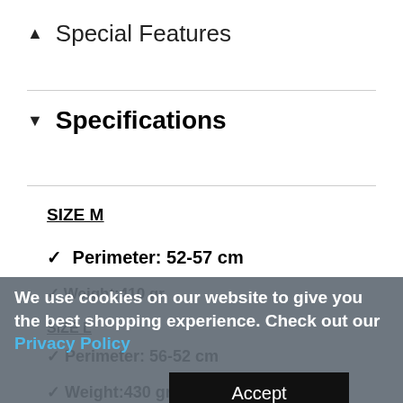▲ Special Features
▼ Specifications
SIZE M
✓ Perimeter: 52-57 cm
✓ Weight:410 gr
SIZE L
✓ Perimeter: 56-52 cm
✓ Weight:430 gr
We use cookies on our website to give you the best shopping experience. Check out our Privacy Policy
Accept